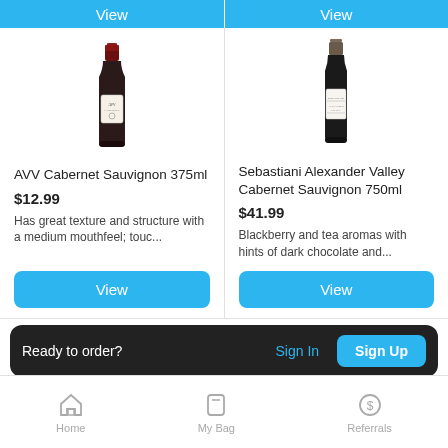[Figure (screenshot): Two wine product cards side by side with View buttons at top]
AVV Cabernet Sauvignon 375ml
$12.99
Has great texture and structure with a medium mouthfeel; touc...
Sebastiani Alexander Valley Cabernet Sauvignon 750ml
$41.99
Blackberry and tea aromas with hints of dark chocolate and...
Ready to order? Sign In  Sign Up
Home   My Bag   Referrals